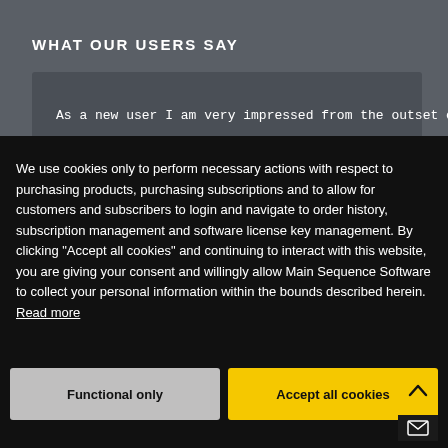WHAT OUR USERS SAY
As a new user I am very impressed from the outset of
We use cookies only to perform necessary actions with respect to purchasing products, purchasing subscriptions and to allow for customers and subscribers to login and navigate to order history, subscription management and software license key management. By clicking "Accept all cookies" and continuing to interact with this website, you are giving your consent and willingly allow Main Sequence Software to collect your personal information within the bounds described herein. Read more
Functional only
Accept all cookies